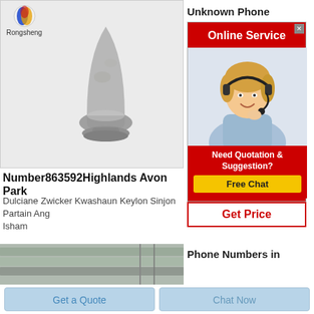[Figure (photo): Product photo: a gray bullet/plug-shaped powder material on a display stand, shown on light gray background. Rongsheng logo with colorful circle icon top-left.]
Unknown Phone
[Figure (infographic): Online Service widget with red background showing 'Online Service' button, a smiling female customer service agent with headset, 'Need Quotation & Suggestion?' text, 'Free Chat' yellow button, and 'Get Price' red-bordered button.]
Number863592Highlands Avon Park
Dulciane Zwicker Kwashaun Keylon Sinjon Partain Ang Isham
[Figure (photo): Partial view of what appears to be stacked building materials or industrial sheets in gray/silver tones.]
Phone Numbers in
Get a Quote
Chat Now